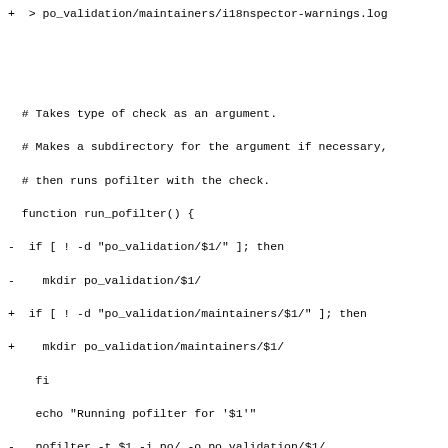+ > po_validation/maintainers/i18nspector-warnings.log

 # Takes type of check as an argument.
 # Makes a subdirectory for the argument if necessary,
 # then runs pofilter with the check.
 function run_pofilter() {
-  if [ ! -d "po_validation/$1/" ]; then
-    mkdir po_validation/$1/
+  if [ ! -d "po_validation/maintainers/$1/" ]; then
+    mkdir po_validation/maintainers/$1/
    fi
    echo "Running pofilter for '$1'"
-   pofilter -t $1 -i po/ -o po_validation/$1/
+   pofilter -t $1 -i po/ -o po_validation/maintainers/$1/
 }

 # These checks are critical
@@ -72,30 +82,44 @@
 run_pofilter "numbers"

 # We only run the options check on the command line help
-if [ ! -d "po_validation/options/" ]; then
+if [ ! -d "po_validation/maintainers/options/" ]; then
   echo "Creating directory 'options'"